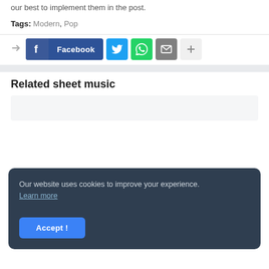our best to implement them in the post.
Tags: Modern, Pop
[Figure (infographic): Social share buttons: share arrow icon, Facebook button (dark blue with f icon and 'Facebook' text), Twitter button (blue with bird icon), WhatsApp button (green with phone icon), Email button (gray with envelope icon), More button (light gray with plus icon)]
Related sheet music
[Figure (screenshot): Partially visible related sheet music card (light gray background)]
Our website uses cookies to improve your experience. Learn more
Accept !